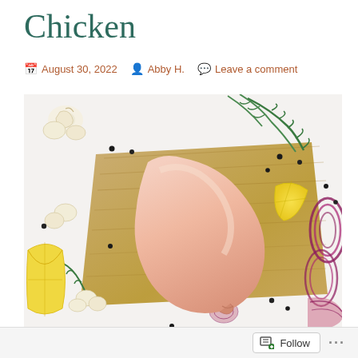Chicken
August 30, 2022   Abby H.   Leave a comment
[Figure (photo): Raw chicken breast on a wooden cutting board surrounded by rosemary, garlic cloves, lemon slices, red onion rings, and black peppercorns on a white background]
Follow ...